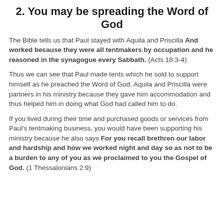2. You may be spreading the Word of God
The Bible tells us that Paul stayed with Aquila and Priscilla And worked because they were all tentmakers by occupation and he reasoned in the synagogue every Sabbath. (Acts 18:3-4)
Thus we can see that Paul made tents which he sold to support himself as he preached the Word of God. Aquila and Priscilla were partners in his ministry because they gave him accommodation and thus helped him in doing what God had called him to do.
If you lived during their time and purchased goods or services from Paul's tentmaking business, you would have been supporting his ministry because he also says For you recall brethren our labor and hardship and how we worked night and day so as not to be a burden to any of you as we proclaimed to you the Gospel of God. (1 Thessalonians 2:9)